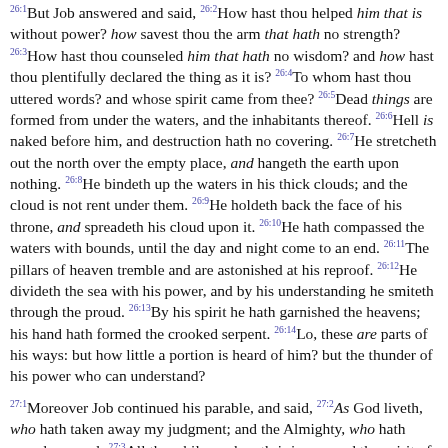26:1But Job answered and said, 26:2How hast thou helped him that is without power? how savest thou the arm that hath no strength? 26:3How hast thou counseled him that hath no wisdom? and how hast thou plentifully declared the thing as it is? 26:4To whom hast thou uttered words? and whose spirit came from thee? 26:5Dead things are formed from under the waters, and the inhabitants thereof. 26:6Hell is naked before him, and destruction hath no covering. 26:7He stretcheth out the north over the empty place, and hangeth the earth upon nothing. 26:8He bindeth up the waters in his thick clouds; and the cloud is not rent under them. 26:9He holdeth back the face of his throne, and spreadeth his cloud upon it. 26:10He hath compassed the waters with bounds, until the day and night come to an end. 26:11The pillars of heaven tremble and are astonished at his reproof. 26:12He divideth the sea with his power, and by his understanding he smiteth through the proud. 26:13By his spirit he hath garnished the heavens; his hand hath formed the crooked serpent. 26:14Lo, these are parts of his ways: but how little a portion is heard of him? but the thunder of his power who can understand?
27:1Moreover Job continued his parable, and said, 27:2As God liveth, who hath taken away my judgment; and the Almighty, who hath vexed my soul; 27:3All the while my breath is in me, and the spirit of God is in my nostrils; 27:4My lips shall not speak wickedness, 27:5But forbid that I should justify mine adversary;